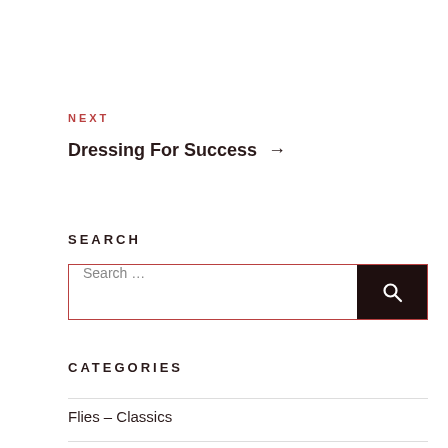NEXT
Dressing For Success →
SEARCH
Search ...
CATEGORIES
Flies – Classics